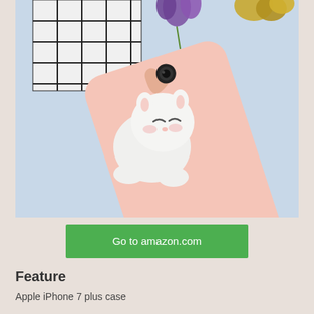[Figure (photo): A pink iPhone case with a 3D white squishy cat figure lying on top, placed on a light blue surface with a black grid panel and purple and yellow flowers in the background.]
Go to amazon.com
Feature
Apple iPhone 7 plus case